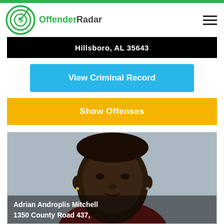OffenderRadar
Hillsboro, AL 35643
View Criminal Record
Show Offenses
[Figure (photo): Mugshot of Adrian Androplis Mitchell]
Adrian Androplis Mitchell
1350 County Road 437,